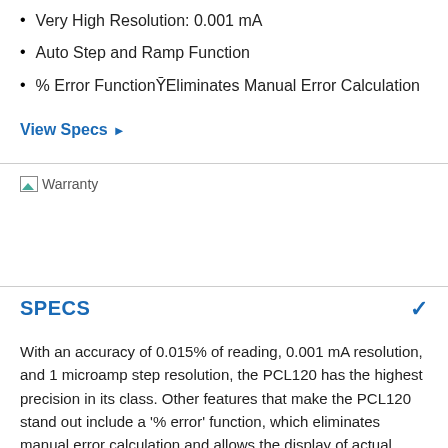Very High Resolution: 0.001 mA
Auto Step and Ramp Function
% Error FunctionȲEliminates Manual Error Calculation
View Specs ▶
[Figure (other): Warranty badge/image]
SPECS
With an accuracy of 0.015% of reading, 0.001 mA resolution, and 1 microamp step resolution, the PCL120 has the highest precision in its class. Other features that make the PCL120 stand out include a '% error' function, which eliminates manual error calculation and allows the display of actual versus ideal